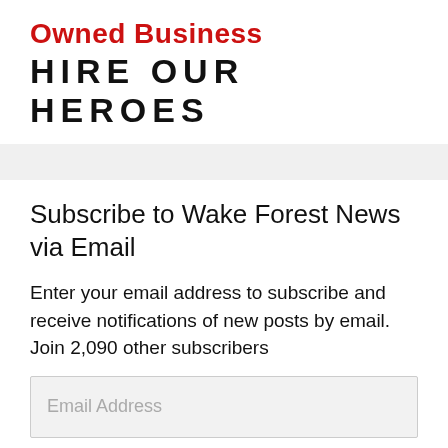Owned Business HIRE OUR HEROES
Subscribe to Wake Forest News via Email
Enter your email address to subscribe and receive notifications of new posts by email. Join 2,090 other subscribers
Email Address
Subscribe